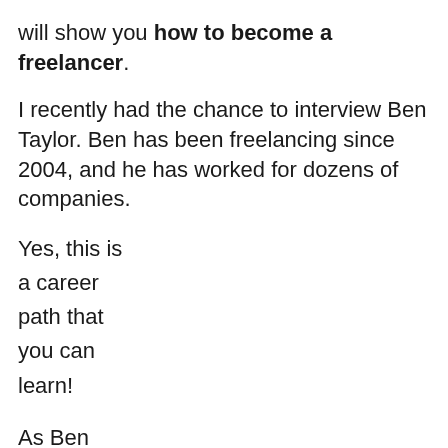will show you how to become a freelancer.
I recently had the chance to interview Ben Taylor. Ben has been freelancing since 2004, and he has worked for dozens of companies.
Yes, this is
a career
path that
you can
learn!
As Ben
will tell
you in the
interview